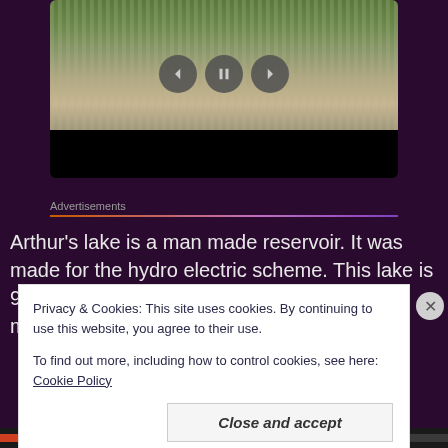[Figure (screenshot): Video player showing a gravel road image with back, pause, and forward control buttons, and a black bar below]
Advertisements
Arthur's lake is a man made reservoir. It was made for the hydro electric scheme. This lake is 952 metres above sea level and holds 500+ million litres.
Privacy & Cookies: This site uses cookies. By continuing to use this website, you agree to their use.
To find out more, including how to control cookies, see here: Cookie Policy
Close and accept